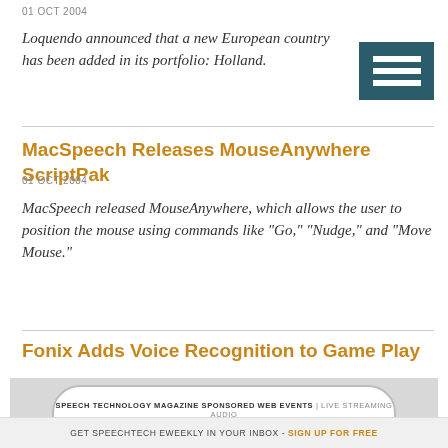01 OCT 2004
Loquendo announced that a new European country has been added in its portfolio: Holland.
[Figure (other): Hamburger menu icon — three white horizontal bars on dark teal/blue background]
MacSpeech Releases MouseAnywhere ScriptPak
01 OCT 2004
MacSpeech released MouseAnywhere, which allows the user to position the mouse using commands like "Go," "Nudge," and "Move Mouse."
Fonix Adds Voice Recognition to Game Play
[Figure (other): Advertisement banner: Speech Technology Magazine Sponsored Web Events | Live Streaming Audio — TOPICAL. TIMELY. ARCHIVED. FREE.]
GET SPEECHTECH EWEEKLY IN YOUR INBOX - SIGN UP FOR FREE